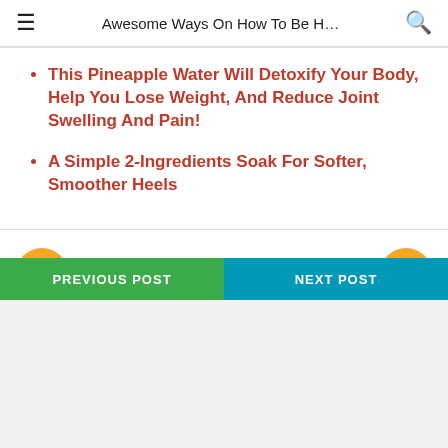Awesome Ways On How To Be H…
This Pineapple Water Will Detoxify Your Body, Help You Lose Weight, And Reduce Joint Swelling And Pain!
A Simple 2-Ingredients Soak For Softer, Smoother Heels
Prev post
Next post
PREVIOUS POST
NEXT POST